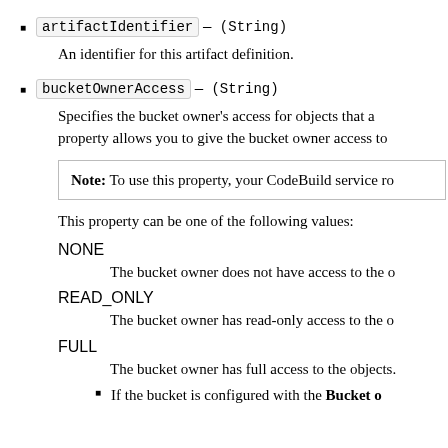artifactIdentifier — (String)
An identifier for this artifact definition.
bucketOwnerAccess — (String)
Specifies the bucket owner's access for objects that a— property allows you to give the bucket owner access to
Note: To use this property, your CodeBuild service ro
This property can be one of the following values:
NONE
The bucket owner does not have access to the o
READ_ONLY
The bucket owner has read-only access to the o
FULL
The bucket owner has full access to the objects.
If the bucket is configured with the Bucket o